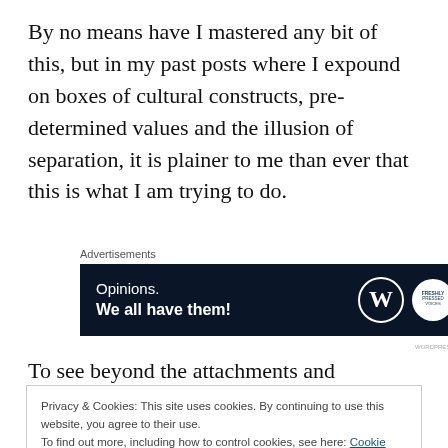By no means have I mastered any bit of this, but in my past posts where I expound on boxes of cultural constructs, pre-determined values and the illusion of separation, it is plainer to me than ever that this is what I am trying to do.
[Figure (other): WordPress advertisement banner with dark navy background. Text reads 'Opinions. We all have them!' with WordPress (W) logo and a circular Fresh Voices logo on the right. Label above reads 'Advertisements'.]
To see beyond the attachments and aversions of the
Privacy & Cookies: This site uses cookies. By continuing to use this website, you agree to their use.
To find out more, including how to control cookies, see here: Cookie Policy
wide to the non-judgmental and unclouded observation